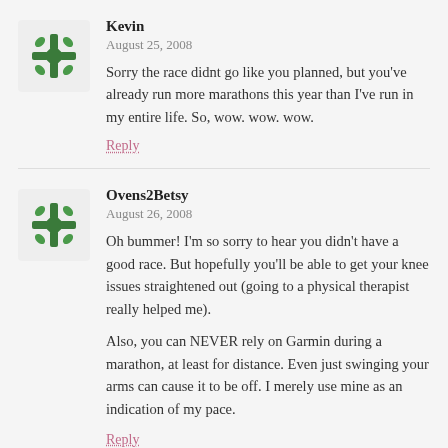Kevin
August 25, 2008
Sorry the race didnt go like you planned, but you've already run more marathons this year than I've run in my entire life. So, wow. wow. wow.
Reply
Ovens2Betsy
August 26, 2008
Oh bummer! I'm so sorry to hear you didn't have a good race. But hopefully you'll be able to get your knee issues straightened out (going to a physical therapist really helped me).
Also, you can NEVER rely on Garmin during a marathon, at least for distance. Even just swinging your arms can cause it to be off. I merely use mine as an indication of my pace.
Reply